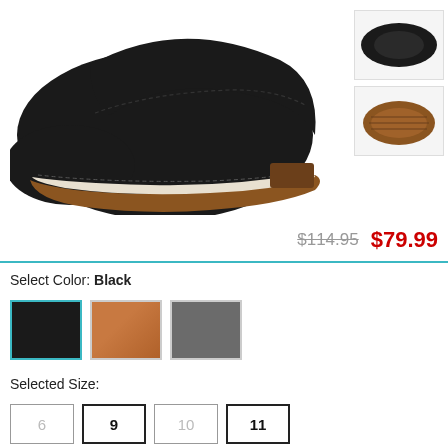[Figure (photo): Main product photo of a black leather boot/shoe with brown rubber sole and stitching detail, shown from a side angle. Two smaller thumbnail images on the right: one showing a top-down view of a black shoe, one showing the brown rubber sole.]
$114.95  $79.99
Select Color: Black
[Figure (other): Three color swatches: black (selected, with teal border), tan/brown leather, and dark gray.]
Selected Size:
[Figure (other): Four size selector boxes: 6 (unavailable), 9 (selected/bold), 10 (unavailable), 11 (selected/bold border).]